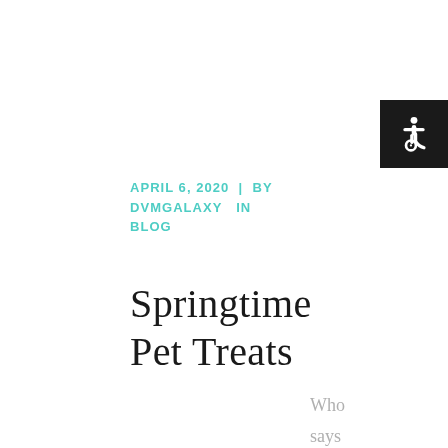[Figure (other): Accessibility icon button (wheelchair symbol) in dark background, top right corner]
APRIL 6, 2020  |  BY DVMGALAXY  IN BLOG
Springtime Pet Treats
Who says that the Easter Bunny only visits the